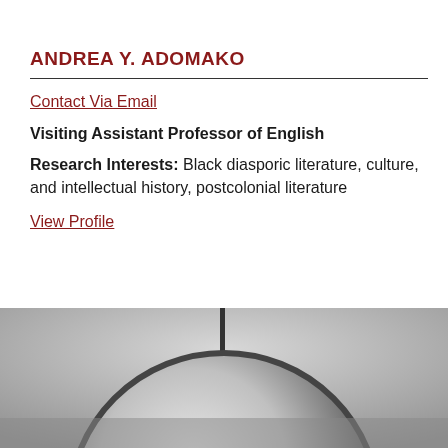ANDREA Y. ADOMAKO
Contact Via Email
Visiting Assistant Professor of English
Research Interests: Black diasporic literature, culture, and intellectual history, postcolonial literature
View Profile
[Figure (photo): Black and white photograph, partially visible, showing a rounded dark object against a lighter background]